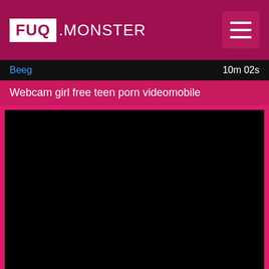FUQ .MONSTER
Beeg   10m 02s
Webcam girl free teen porn videomobile
[Figure (other): Black video player area]